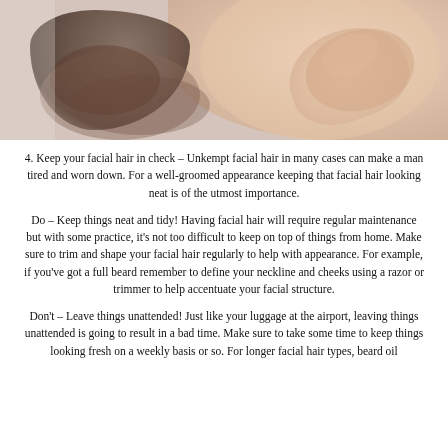[Figure (photo): Close-up photo of a man's face/jaw area showing facial hair (beard stubble), with skin tones visible and what appears to be a hand near the face, white background]
4. Keep your facial hair in check – Unkempt facial hair in many cases can make a man tired and worn down. For a well-groomed appearance keeping that facial hair looking neat is of the utmost importance.
Do – Keep things neat and tidy! Having facial hair will require regular maintenance but with some practice, it's not too difficult to keep on top of things from home. Make sure to trim and shape your facial hair regularly to help with appearance. For example, if you've got a full beard remember to define your neckline and cheeks using a razor or trimmer to help accentuate your facial structure.
Don't – Leave things unattended! Just like your luggage at the airport, leaving things unattended is going to result in a bad time. Make sure to take some time to keep things looking fresh on a weekly basis or so. For longer facial hair types, beard oil